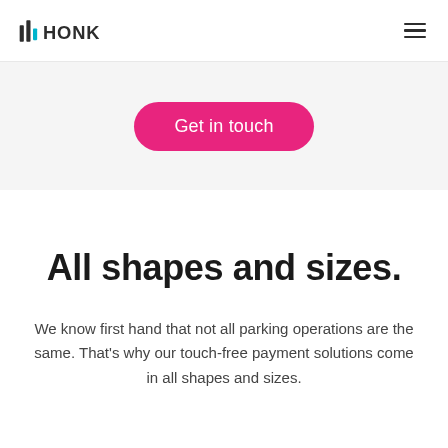[Figure (logo): HONK logo with bar chart icon in dark and cyan colors followed by bold HONK text]
Get in touch
All shapes and sizes.
We know first hand that not all parking operations are the same. That's why our touch-free payment solutions come in all shapes and sizes.